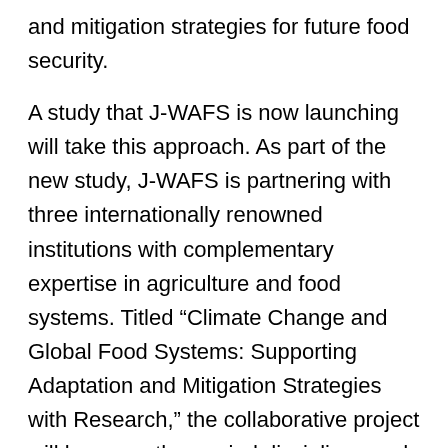and mitigation strategies for future food security.
A study that J-WAFS is now launching will take this approach. As part of the new study, J-WAFS is partnering with three internationally renowned institutions with complementary expertise in agriculture and food systems. Titled “Climate Change and Global Food Systems: Supporting Adaptation and Mitigation Strategies with Research,” the collaborative project will leverage the myriad disciplines and specialties of a cross-institutional group of researchers, along with stakeholders and decision-makers, in order to develop a prioritized, actionable, solutions-oriented research agenda. The project’s goal is to determine which research questions must be answered, and which innovations